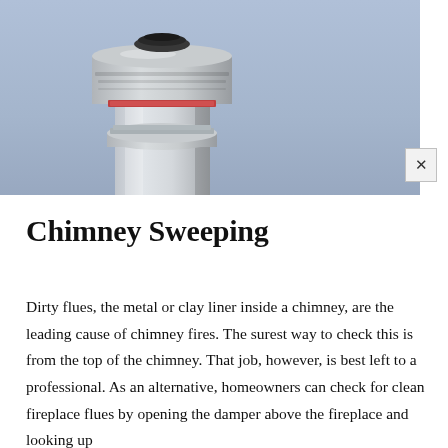[Figure (photo): Close-up photograph of a metal chimney cap/flue against a blue sky background. The chimney is a cylindrical silver/grey metal pipe with a round cap on top.]
Chimney Sweeping
Dirty flues, the metal or clay liner inside a chimney, are the leading cause of chimney fires. The surest way to check this is from the top of the chimney. That job, however, is best left to a professional. As an alternative, homeowners can check for clean fireplace flues by opening the damper above the fireplace and looking up.